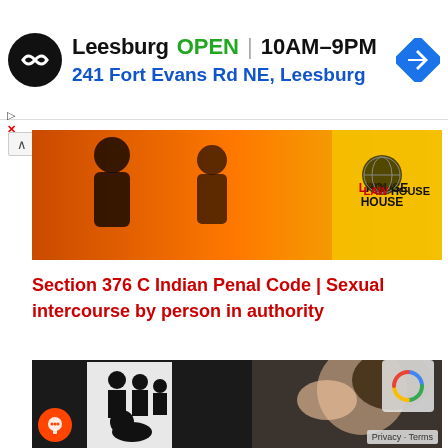[Figure (screenshot): Advertisement banner for a store in Leesburg showing OPEN status, hours 10AM-9PM, and address 241 Fort Evans Rd NE, Leesburg, with a circular logo and a blue navigation arrow icon.]
[Figure (illustration): Illustration with orange background showing silhouettes and LAW HOUSE badge.]
Section 376 C Indian Penal Code | Sexual intercourse by person in authority
[Figure (illustration): Illustration showing a distressed woman covering her face with her hand, crying, alongside silhouettes depicting assault, used to illustrate sexual crime legal content.]